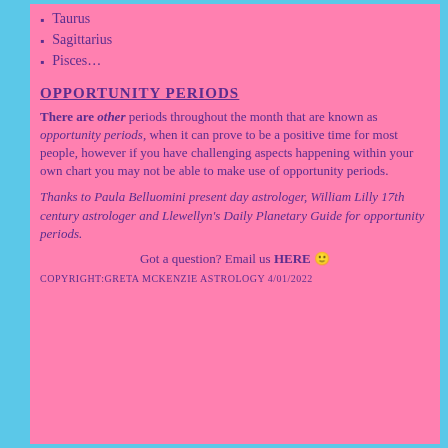Taurus
Sagittarius
Pisces…
OPPORTUNITY PERIODS
There are other periods throughout the month that are known as opportunity periods, when it can prove to be a positive time for most people, however if you have challenging aspects happening within your own chart you may not be able to make use of opportunity periods.
Thanks to Paula Belluomini present day astrologer, William Lilly 17th century astrologer and Llewellyn's Daily Planetary Guide for opportunity periods.
Got a question? Email us HERE 🙂
COPYRIGHT:GRETA MCKENZIE ASTROLOGY 4/01/2022